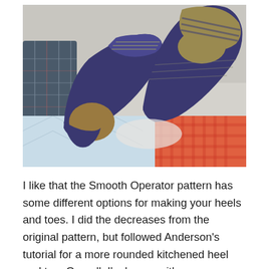[Figure (photo): Two hand-knitted socks displayed on a bed with quilted and patterned fabric. The socks feature a multi-color design with navy blue, tan/brown, and striped sections at the cuff and heel areas.]
I like that the Smooth Operator pattern has some different options for making your heels and toes. I did the decreases from the original pattern, but followed Anderson's tutorial for a more rounded kitchened heel and toe. Overall, I'm happy with